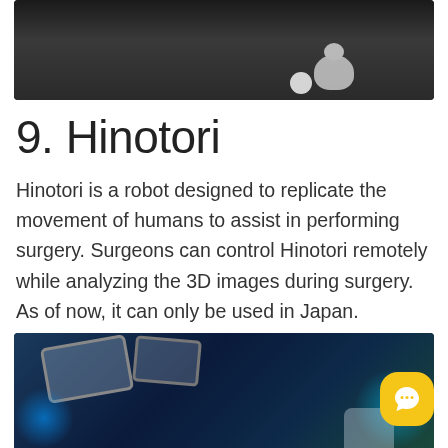[Figure (photo): Robot on a dark floor, partially visible, a small white ball nearby]
9. Hinotori
Hinotori is a robot designed to replicate the movement of humans to assist in performing surgery. Surgeons can control Hinotori remotely while analyzing the 3D images during surgery. As of now, it can only be used in Japan.
[Figure (photo): Operating room ceiling with surgical lights and robotic arms, blue ambient lighting]